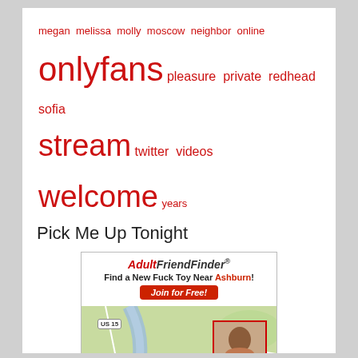megan melissa molly moscow neighbor online onlyfans pleasure private redhead sofia stream twitter videos welcome years
Pick Me Up Tonight
[Figure (advertisement): AdultFriendFinder advertisement showing a map of the Leesburg/Ashburn area (Virginia) with user profile photos pinned on the map. Header reads: AdultFriendFinder - Find a New Fuck Toy Near Ashburn! with a Join for Free! button. Map shows US 15, VA 7, VA 267 roads and Leesburg Executive Airport.]